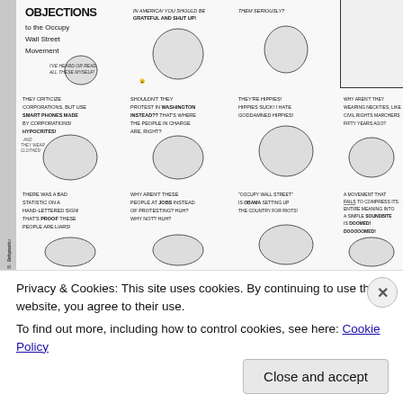[Figure (illustration): Black and white political comic strip titled 'OBJECTIONS to the Occupy Wall Street Movement'. A 3x3 grid of cartoon panels showing various caricatured characters voicing objections to the Occupy Wall Street movement. Panels include text such as: 'I'VE HEARD OR READ ALL THESE MYSELF!', 'THEY CRITICIZE CORPORATIONS, BUT USE SMART PHONES MADE BY CORPORATIONS! HYPOCRITES!', 'SHOULDN'T THEY PROTEST IN WASHINGTON INSTEAD? THAT'S WHERE THE PEOPLE IN CHARGE ARE, RIGHT?', 'THEY'RE HIPPIES! HIPPIES SUCK! I HATE GODDAMNED HIPPIES!', 'WHY AREN'T THEY WEARING NECKTIES, LIKE CIVIL RIGHTS MARCHERS FIFTY YEARS AGO?', 'THERE WAS A BAD STATISTIC ON A HAND-LETTERED SIGN! THAT'S PROOF THESE PEOPLE ARE LIARS!', 'WHY AREN'T THESE PEOPLE AT JOBS INSTEAD OF PROTESTING? HUH? WHY NOT? HUH?', '"OCCUPY WALL STREET" IS OBAMA SETTING UP THE COUNTRY FOR RIOTS!', 'A MOVEMENT THAT FAILS TO COMPRESS ITS ENTIRE MEANING INTO A SIMPLE SOUNDBITE IS DOOMED! DOOOOOMED!'. Side labels: 'leftycarto' and 'nd by B. Deutsch'.]
Privacy & Cookies: This site uses cookies. By continuing to use this website, you agree to their use.
To find out more, including how to control cookies, see here: Cookie Policy
Close and accept